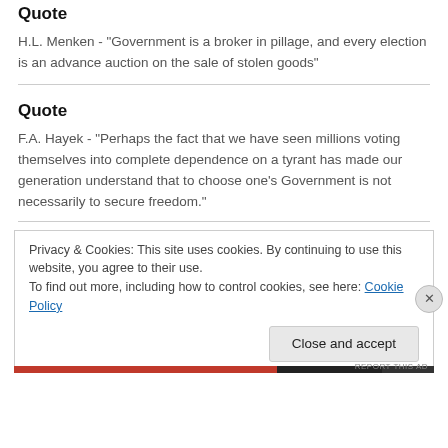Quote
H.L. Menken - "Government is a broker in pillage, and every election is an advance auction on the sale of stolen goods"
Quote
F.A. Hayek - "Perhaps the fact that we have seen millions voting themselves into complete dependence on a tyrant has made our generation understand that to choose one’s Government is not necessarily to secure freedom."
Privacy & Cookies: This site uses cookies. By continuing to use this website, you agree to their use.
To find out more, including how to control cookies, see here: Cookie Policy